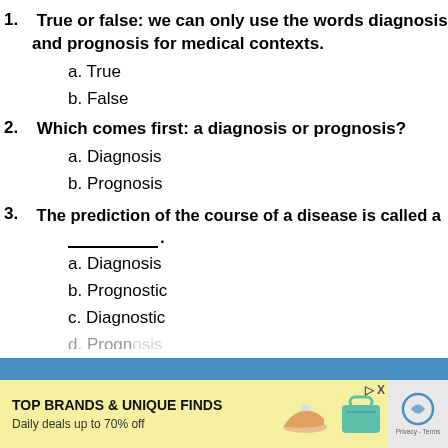1. True or false: we can only use the words diagnosis and prognosis for medical contexts. a. True b. False
2. Which comes first: a diagnosis or prognosis? a. Diagnosis b. Prognosis
3. The prediction of the course of a disease is called a ___________. a. Diagnosis b. Prognostic c. Diagnostic d. Prognosis
[Figure (screenshot): Advertisement banner: TOP BRANDS & UNIQUE FINDS, Daily deals up to 70% off, Zulily branding with yellow background and teal handbag image]